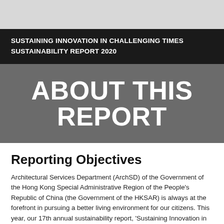SUSTAINING INNOVATION IN CHALLENGING TIMES SUSTAINABILITY REPORT 2020
ABOUT THIS REPORT
Reporting Objectives
Architectural Services Department (ArchSD) of the Government of the Hong Kong Special Administrative Region of the People's Republic of China (the Government of the HKSAR) is always at the forefront in pursuing a better living environment for our citizens. This year, our 17th annual sustainability report, 'Sustaining Innovation in Challenging Times', continues to present our